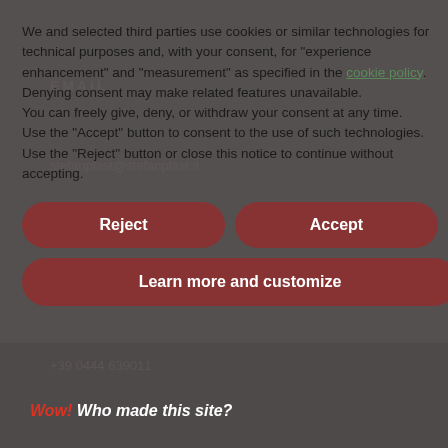We and selected third parties use cookies or similar technologies for technical purposes and, with your consent, for "experience enhancement" and "measurement" as specified in the cookie policy. Denying consent may make related features unavailable.
You can freely give, deny, or withdraw your consent at any time.
Use the "Accept" button to consent to the use of such technologies. Use the "Reject" button or close this notice to continue without accepting.
EMAIL
stefanplast@stefanplast.it
PHONE
+39 0444 639011
Privacy policy
P.Iva IT 02025950243
Concept & Graphic Design: Stefanplast Marketing Department
Reject
Accept
Learn more and customize
Follow us on social media
Wow! Who made this site?